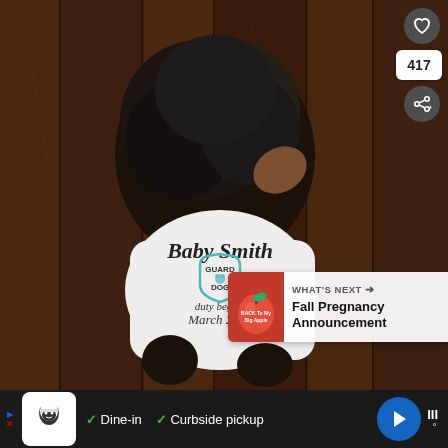[Figure (photo): A small dark-haired dog (viewed from behind/above) sitting on a dark wood plank floor, wearing a white dog t-shirt that reads 'Baby Smith GUARD DOG duty begins March 2018' with a shield graphic. UI overlays include a heart/like button, share button, count of 417, and a 'What's Next' suggestion panel showing 'Fall Pregnancy Announcement'.]
WHAT'S NEXT → Fall Pregnancy Announcement
✓ Dine-in  ✓ Curbside pickup